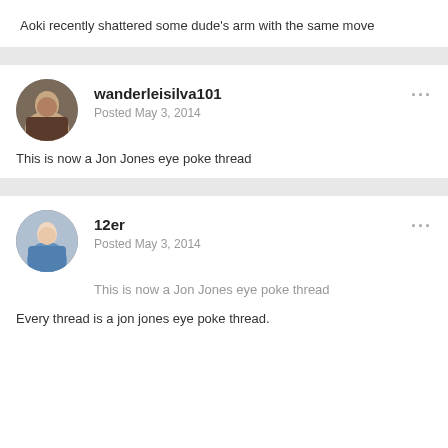Aoki recently shattered some dude's arm with the same move
wanderleisilva101
Posted May 3, 2014
This is now a Jon Jones eye poke thread
12er
Posted May 3, 2014
This is now a Jon Jones eye poke thread
Every thread is a jon jones eye poke thread.